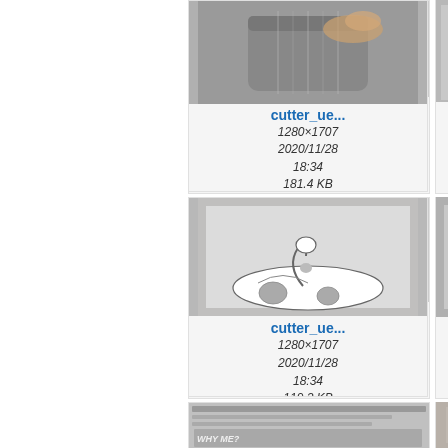[Figure (screenshot): File browser / image gallery grid showing cutter_ue... image thumbnails with metadata. Row 1: photo of metal cylinder with tape measure; photo of hand scoring paper with needle. Row 2: photo of white swan shape cut from foam; photo of parallel scratches on metal. Row 3: partial thumbnails visible at bottom.]
cutter_ue...
1280×1707
2020/11/28
18:34
181.4 KB
cutter_ue...
1280×960
2020/11/28
18:34
57.9 KB
cutter_ue...
1280×1707
2020/11/28
18:34
119.3 KB
cutter_ue...
1280×1707
2020/11/28
18:34
211.8 KB